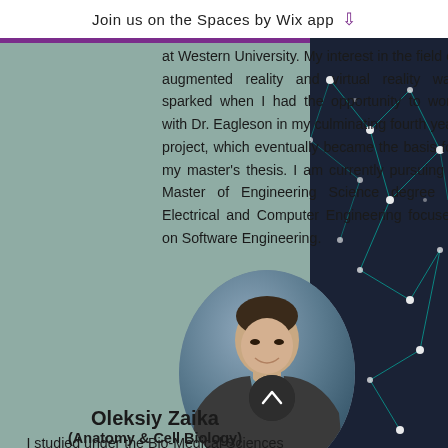Join us on the Spaces by Wix app ↓
at Western University. My interest in the field of augmented reality and virtual reality was sparked when I had the opportunity to work with Dr. Eagleson in my culminating fourth year project, which eventually became the basis for my master's thesis. I am currently pursuing a Master of Engineering Science degree in Electrical and Computer Engineering focused on Software Engineering.
[Figure (photo): Oval portrait photo of Oleksiy Zaika, a young man in a grey blazer and patterned shirt, smiling, against a blue-grey background.]
Oleksiy Zaika
(Anatomy & Cell Biology)
I studied under the Bio-Medical Sciences